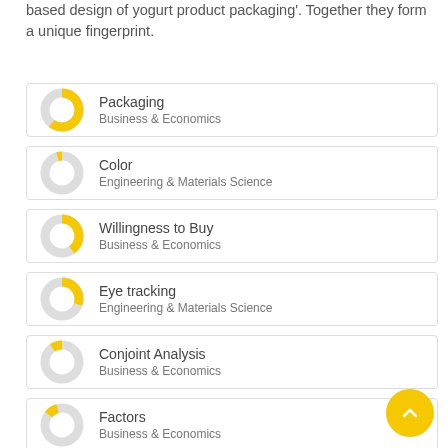based design of yogurt product packaging'. Together they form a unique fingerprint.
Packaging — Business & Economics
Color — Engineering & Materials Science
Willingness to Buy — Business & Economics
Eye tracking — Engineering & Materials Science
Conjoint Analysis — Business & Economics
Factors — Business & Economics